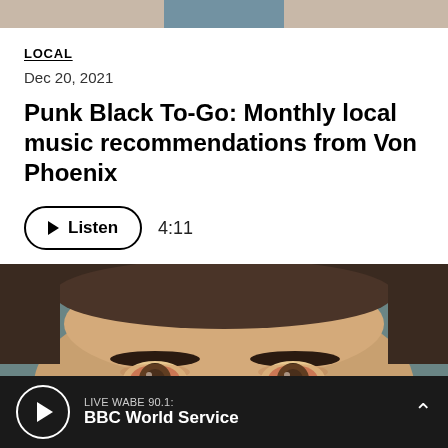[Figure (photo): Partial view of a person's head/hair at top of page, cropped]
LOCAL
Dec 20, 2021
Punk Black To-Go: Monthly local music recommendations from Von Phoenix
Listen  4:11
[Figure (photo): Close-up mugshot photo of a person's face, showing eyes and forehead, with teal/blue background]
LIVE WABE 90.1: BBC World Service